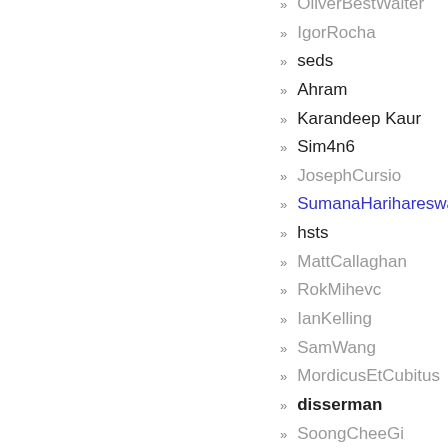OliverBestWaiter
IgorRocha
seds
Ahram
Karandeep Kaur
Sim4n6
JosephCursio
SumanaHarihareswara
hsts
MattCallaghan
RokMihevc
IanKelling
SamWang
MordicusEtCubitus
disserman
SoongCheeGi
IqbalAbdullah
StefaneFermigier
AlessandroMolina